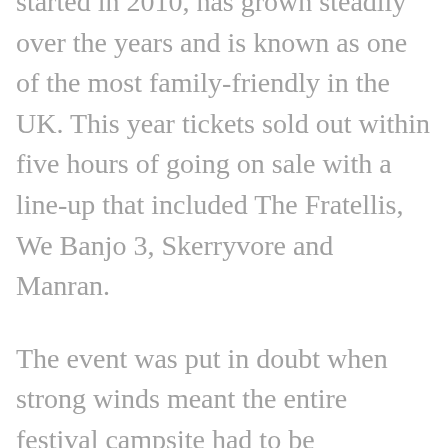started in 2010, has grown steadily over the years and is known as one of the most family-friendly in the UK. This year tickets sold out within five hours of going on sale with a line-up that included The Fratellis, We Banjo 3, Skerryvore and Manran.
The event was put in doubt when strong winds meant the entire festival campsite had to be evacuated after revellers' tents